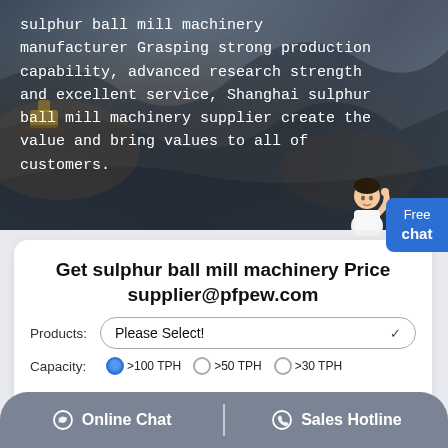[Figure (photo): Aerial view of a quarry or mining site with dark rocky terrain, heavy machinery visible. White text overlaid describing sulphur ball mill machinery manufacturer.]
sulphur ball mill machinery manufacturer Grasping strong production capability, advanced research strength and excellent service, Shanghai sulphur ball mill machinery supplier create the value and bring values to all of customers.
Get sulphur ball mill machinery Price
supplier@pfpew.com
Products: Please Select!
Capacity: >100 TPH  >50 TPH  >30 TPH
Online Chat | Sales Hotline